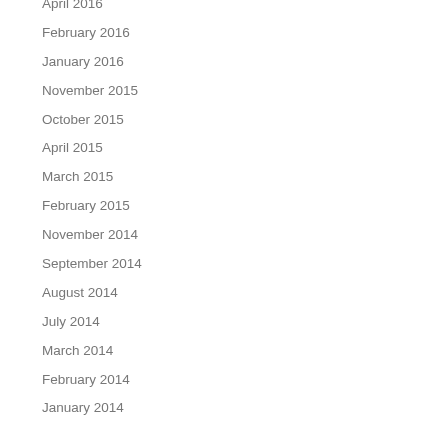April 2016
February 2016
January 2016
November 2015
October 2015
April 2015
March 2015
February 2015
November 2014
September 2014
August 2014
July 2014
March 2014
February 2014
January 2014